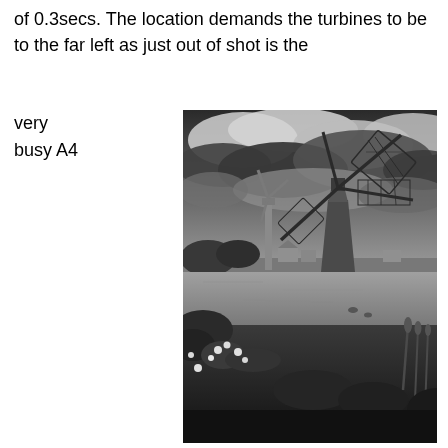of 0.3secs. The location demands the turbines to be to the far left as just out of shot is the
very busy A4
[Figure (photo): Black and white photograph of a traditional Dutch windmill beside a canal with dramatic cloudy sky. A modern wind turbine is visible in the background to the left. Foreground shows wildflowers and reeds along the canal bank with ducks on the water.]